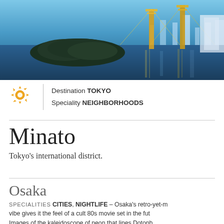[Figure (photo): Nighttime aerial photo of Tokyo bay area with illuminated bridge towers reflected in water, small tree-covered island in foreground]
Destination TOKYO
Speciality NEIGHBORHOODS
Minato
Tokyo's international district.
Osaka
SPECIALITIES CITIES, NIGHTLIFE - Osaka's retro-yet-m vibe gives it the feel of a cult 80s movie set in the fut Images of the kaleidoscope of neon that lines Dotonb....